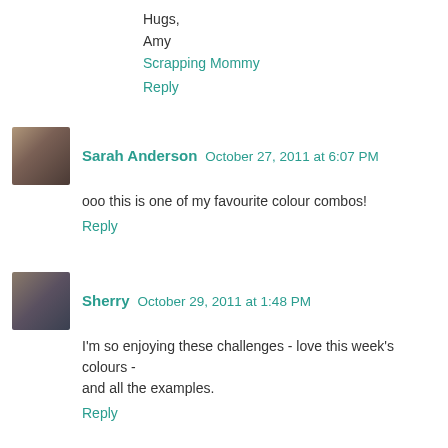Hugs,
Amy
Scrapping Mommy
Reply
Sarah Anderson   October 27, 2011 at 6:07 PM
ooo this is one of my favourite colour combos!
Reply
Sherry   October 29, 2011 at 1:48 PM
I'm so enjoying these challenges - love this week's colours - and all the examples.
Reply
peggy gatto   October 29, 2011 at 3:12 PM
I love these colors and what was created!!!
I uploaded a picture because the linking system is not